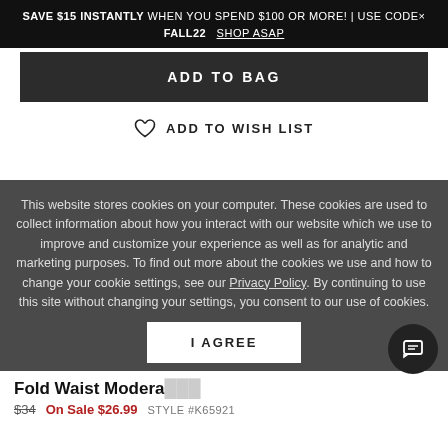SAVE $15 INSTANTLY WHEN YOU SPEND $100 OR MORE! | USE CODE× FALL22  SHOP ASAP
ADD TO BAG
ADD TO WISH LIST
This website stores cookies on your computer. These cookies are used to collect information about how you interact with our website which we use to improve and customize your experience as well as for analytic and marketing purposes. To find out more about the cookies we use and how to change your cookie settings, see our Privacy Policy. By continuing to use this site without changing your settings, you consent to our use of cookies.
I AGREE
Fold Waist Modera
$34  On Sale $26.99  STYLE #K65921